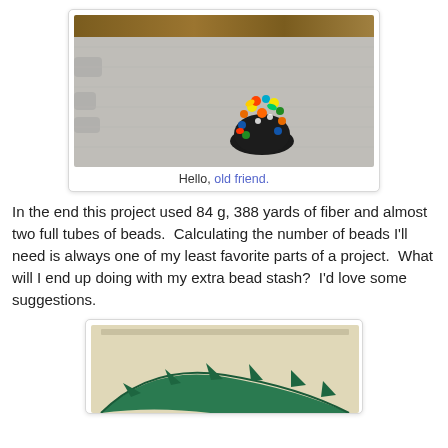[Figure (photo): A colorful beaded ball/hedgehog craft project sitting on a gray foam puzzle mat with wood floor visible at top. The beaded piece has multicolored beads in yellow, orange, green, blue sticking out from a dark base.]
Hello, old friend.
In the end this project used 84 g, 388 yards of fiber and almost two full tubes of beads.  Calculating the number of beads I'll need is always one of my least favorite parts of a project.  What will I end up doing with my extra bead stash?  I'd love some suggestions.
[Figure (photo): A dark teal/green crocheted or knitted piece laid flat on a light cream/beige background, showing a curved crescent or leaf shape with pointed edges.]